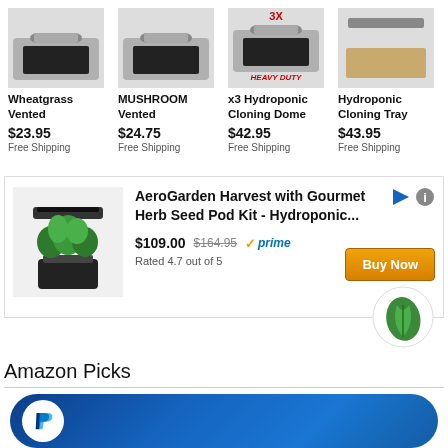[Figure (screenshot): E-commerce product listing page showing hydroponic products and an AeroGarden advertisement, with a PayPal payment bar at bottom]
Wheatgrass Vented
$23.95 Free Shipping
MUSHROOM Vented
$24.75 Free Shipping
x3 Hydroponic Cloning Dome HEAVY DUTY
$42.95 Free Shipping
Hydroponic Cloning Tray
$43.95 Free Shipping
AeroGarden Harvest with Gourmet Herb Seed Pod Kit - Hydroponic...
$109.00 $164.95 prime Rated 4.7 out of 5
Amazon Picks